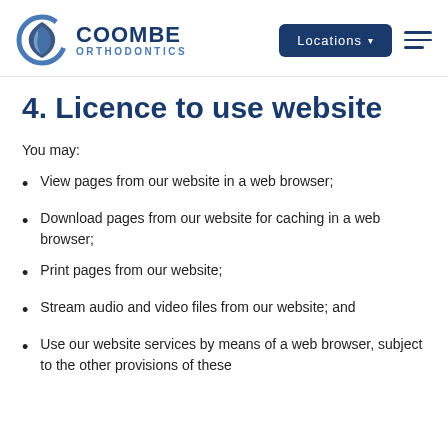Coombe Orthodontics — Locations navigation header
4. Licence to use website
You may:
View pages from our website in a web browser;
Download pages from our website for caching in a web browser;
Print pages from our website;
Stream audio and video files from our website; and
Use our website services by means of a web browser, subject to the other provisions of these